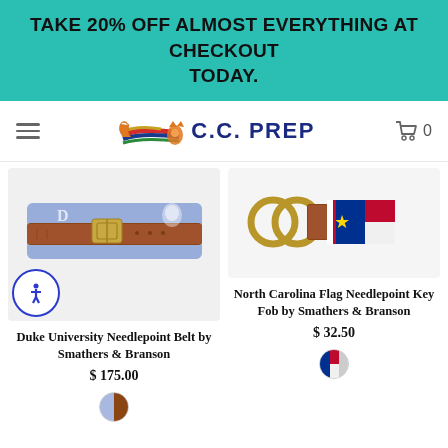TAKE 20% OFF ALMOST EVERYTHING AT CHECKOUT TODAY.
[Figure (logo): C.C. PREP logo with colorful fox and navy text]
[Figure (photo): Duke University Needlepoint Belt by Smathers & Branson - blue needlepoint belt with brown leather]
Duke University Needlepoint Belt by Smathers & Branson
$ 175.00
[Figure (photo): North Carolina Flag Needlepoint Key Fob by Smathers & Branson - key fob with NC flag design]
North Carolina Flag Needlepoint Key Fob by Smathers & Branson
$ 32.50